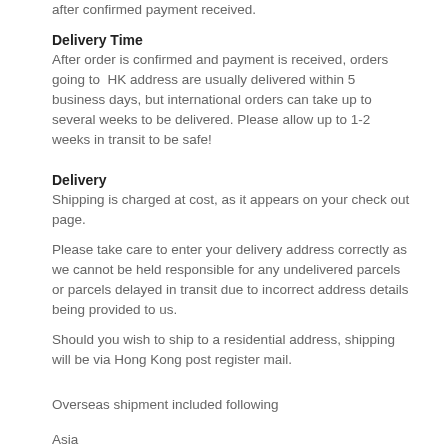after confirmed payment received.
Delivery Time
After order is confirmed and payment is received, orders going to HK address are usually delivered within 5 business days, but international orders can take up to several weeks to be delivered. Please allow up to 1-2 weeks in transit to be safe!
Delivery
Shipping is charged at cost, as it appears on your check out page.
Please take care to enter your delivery address correctly as we cannot be held responsible for any undelivered parcels or parcels delayed in transit due to incorrect address details being provided to us.
Should you wish to ship to a residential address, shipping will be via Hong Kong post register mail.
Overseas shipment included following
Asia